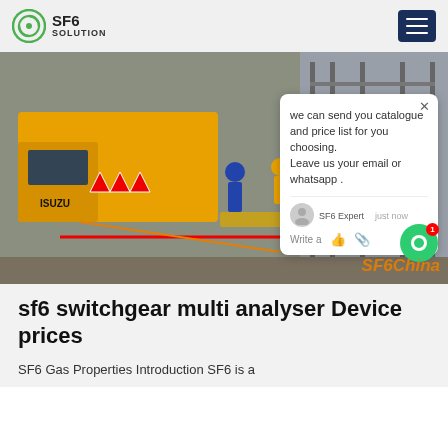SF6 SOLUTION
[Figure (photo): Yellow ISUZU truck and workers in blue coveralls at an electrical substation with red and yellow safety barriers. A chat popup overlay reads: 'we can send you catalogue and price list for you choosing. Leave us your email or whatsapp.' Watermark reads SF6China.]
sf6 switchgear multi analyser Device prices
SF6 Gas Properties Introduction SF6 is a